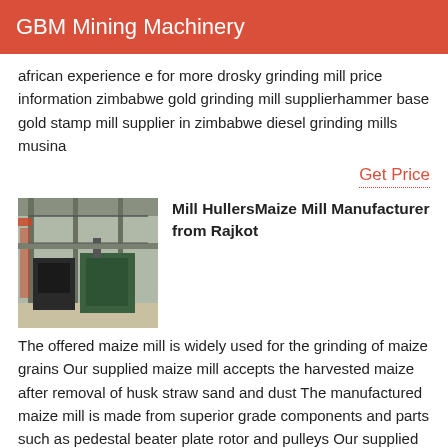GBM Mining Machinery
african experience e for more drosky grinding mill price information zimbabwe gold grinding mill supplierhammer base gold stamp mill supplier in zimbabwe diesel grinding mills musina
Get Price
[Figure (photo): Industrial mill or machinery equipment in a warehouse setting with steel structure and green machinery]
Mill HullersMaize Mill Manufacturer from Rajkot
The offered maize mill is widely used for the grinding of maize grains Our supplied maize mill accepts the harvested maize after removal of husk straw sand and dust The manufactured maize mill is made from superior grade components and parts such as pedestal beater plate rotor and pulleys Our supplied maize mill is a low maintenance
Get Price